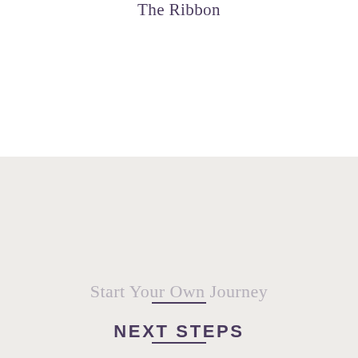The Ribbon
Start Your Own Journey
NEXT STEPS